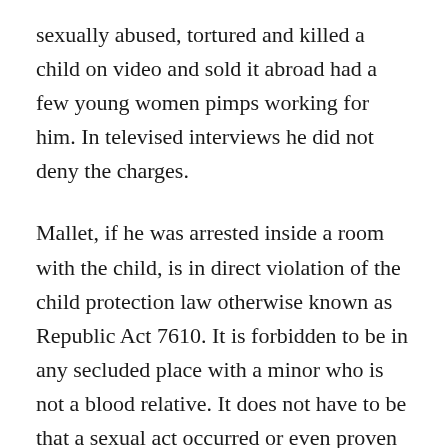sexually abused, tortured and killed a child on video and sold it abroad had a few young women pimps working for him. In televised interviews he did not deny the charges.
Mallet, if he was arrested inside a room with the child, is in direct violation of the child protection law otherwise known as Republic Act 7610. It is forbidden to be in any secluded place with a minor who is not a blood relative. It does not have to be that a sexual act occurred or even proven that the child was sexually assaulted. Before RA 7610, many police, prosecutors and judges claimed that there was no crime if the abusive act did not occur.